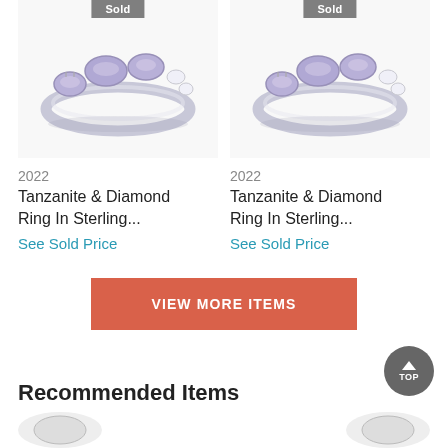[Figure (photo): Tanzanite and Diamond ring in sterling silver with lavender/purple oval stones and small white diamonds, shown at angle. Badge: Sold]
[Figure (photo): Tanzanite and Diamond ring in sterling silver with lavender/purple oval stones and small white diamonds, shown at angle. Badge: Sold]
2022
Tanzanite & Diamond Ring In Sterling...
See Sold Price
2022
Tanzanite & Diamond Ring In Sterling...
See Sold Price
VIEW MORE ITEMS
Recommended Items
[Figure (photo): Partial thumbnail of recommended jewelry item]